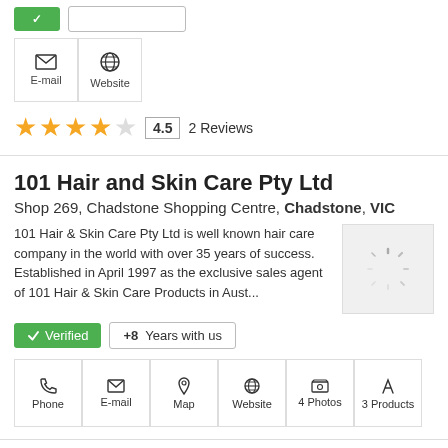[Figure (screenshot): Top navigation buttons (green button and outline button)]
[Figure (infographic): Contact icon buttons: E-mail and Website]
4.5  2 Reviews
101 Hair and Skin Care Pty Ltd
Shop 269, Chadstone Shopping Centre, Chadstone, VIC
101 Hair & Skin Care Pty Ltd is well known hair care company in the world with over 35 years of success. Established in April 1997 as the exclusive sales agent of 101 Hair & Skin Care Products in Aust...
[Figure (photo): Loading spinner image placeholder]
✓ Verified  +8  Years with us
Phone  E-mail  Map  Website  4 Photos  3 Products
Sophie's Beauty Room
Shop 7, 57 Mimosa Road, Bossley Park, NSW, Bossley Park,